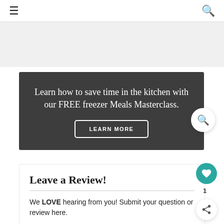≡  🔍
[Figure (other): Gray placeholder banner area below navigation]
Learn how to save time in the kitchen with our FREE freezer Meals Masterclass. LEARN MORE
Leave a Review!
We LOVE hearing from you! Submit your question or review here.